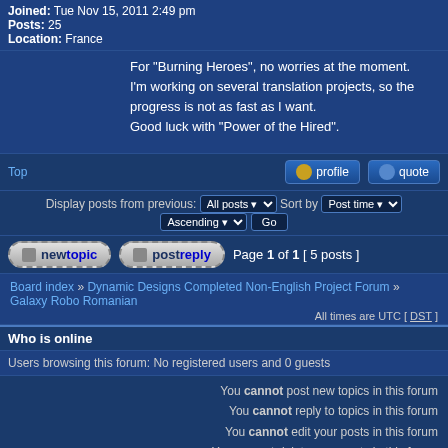Joined: Tue Nov 15, 2011 2:49 pm
Posts: 25
Location: France
For "Burning Heroes", no worries at the moment.
I'm working on several translation projects, so the progress is not as fast as I want.
Good luck with "Power of the Hired".
Top | profile | quote
Display posts from previous: All posts  Sort by  Post time  Ascending  Go
new topic  post reply  Page 1 of 1 [ 5 posts ]
Board index » Dynamic Designs Completed Non-English Project Forum » Galaxy Robo Romanian
All times are UTC [ DST ]
Who is online
Users browsing this forum: No registered users and 0 guests
You cannot post new topics in this forum
You cannot reply to topics in this forum
You cannot edit your posts in this forum
You cannot delete your posts in this forum